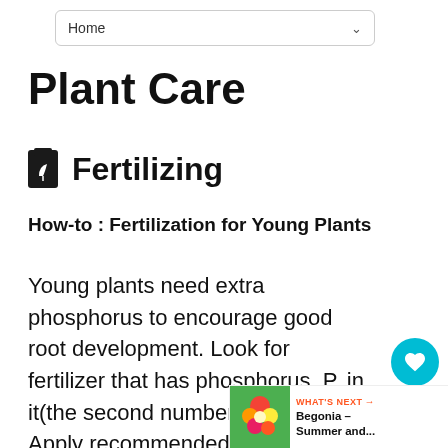Home
Plant Care
Fertilizing
How-to : Fertilization for Young Plants
Young plants need extra phosphorus to encourage good root development. Look for fertilizer that has phosphorus, P, in it(the second number on the bag.) Apply recommended amount for plant per label directions in the soil at time of plant, at least during the first growing season.
[Figure (other): Floating action buttons: heart/favorite button (teal circle with heart icon, count=1) and share button]
[Figure (other): What's Next banner showing a flower image with text 'Begonia – Summer and...']